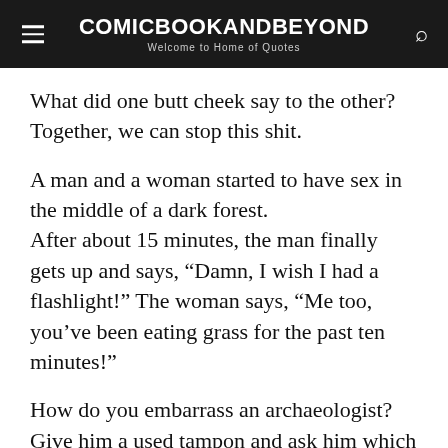COMICBOOKANDBEYOND — Welcome to Home of Quotes
What did one butt cheek say to the other? Together, we can stop this shit.
A man and a woman started to have sex in the middle of a dark forest. After about 15 minutes, the man finally gets up and says, “Damn, I wish I had a flashlight!” The woman says, “Me too, you’ve been eating grass for the past ten minutes!”
How do you embarrass an archaeologist? Give him a used tampon and ask him which period